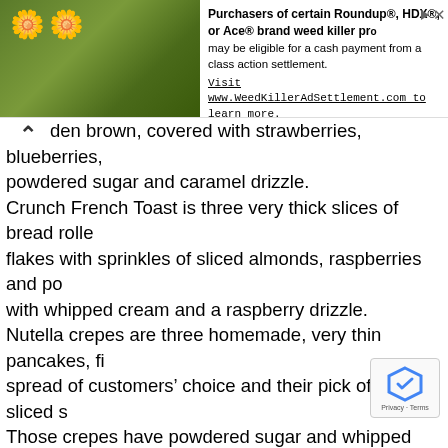[Figure (other): Advertisement banner: photo of yellow wildflowers on left, text about Roundup/HDX/Ace weed killer class action settlement on right, with arrow and X icons]
den brown, covered with strawberries, blueberries, powdered sugar and caramel drizzle. Crunch French Toast is three very thick slices of bread rolle flakes with sprinkles of sliced almonds, raspberries and po with whipped cream and a raspberry drizzle. Nutella crepes are three homemade, very thin pancakes, fi spread of customers’ choice and their pick of fresh, sliced s Those crepes have powdered sugar and whipped cream sp Pancakes are offered in buttermilk, blueberry, banana, cho honey wheat and gluten-free recipes. They come as short stacks with two pancakes and a full sta Chicken and waffles together is also on the menu, as are a waffle sandwich, which has scrambled eggs, cheddar chees bacon inside it. Fans of Mexican food have lots of spicy breakfast dishes to Yolk Café. The huevos rancheros is a grilled corn tortilla co and homemade ranchero sauce. It is paired with guacamo